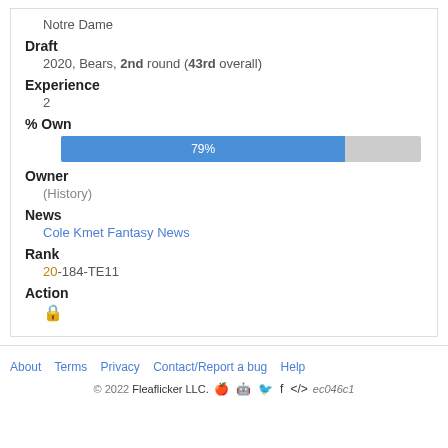Notre Dame
Draft
2020, Bears, 2nd round (43rd overall)
Experience
2
% Own
[Figure (bar-chart): % Own]
Owner
(History)
News
Cole Kmet Fantasy News
Rank
20-184-TE11
Action
🔒
About   Terms   Privacy   Contact/Report a bug   Help
© 2022 Fleaflicker LLC.  ec046c1